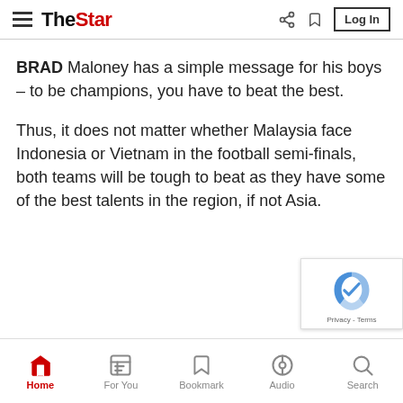The Star – Log In
BRAD Maloney has a simple message for his boys – to be champions, you have to beat the best.
Thus, it does not matter whether Malaysia face Indonesia or Vietnam in the football semi-finals, both teams will be tough to beat as they have some of the best talents in the region, if not Asia.
Home | For You | Bookmark | Audio | Search